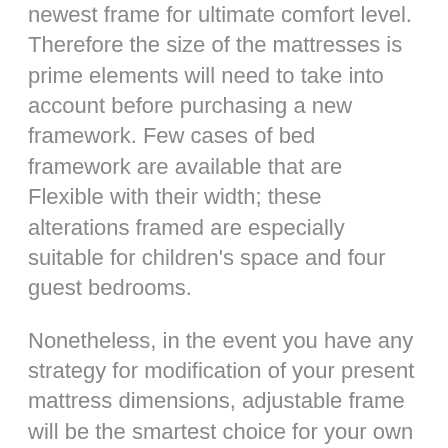newest frame for ultimate comfort level. Therefore the size of the mattresses is prime elements will need to take into account before purchasing a new framework. Few cases of bed framework are available that are Flexible with their width; these alterations framed are especially suitable for children's space and four guest bedrooms.
Nonetheless, in the event you have any strategy for modification of your present mattress dimensions, adjustable frame will be the smartest choice for your own purpose; it'll be cost effective too. While Buying a new framework you Should Think about the storage Choice with mattress arrangement; if you have a strategy for making storage option with the coordination of the framework and mattress together, it's better if you opt for platform framework option or to get box-type bed frame with drawer facility comprised inside. It's always Suggested to do